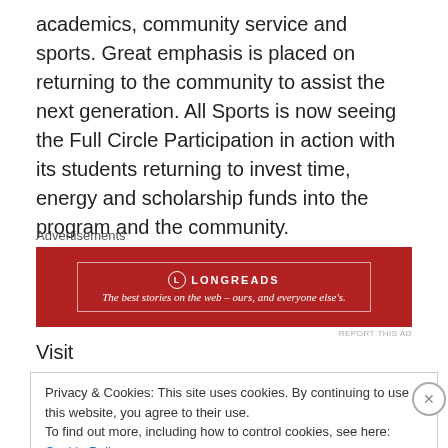academics, community service and sports. Great emphasis is placed on returning to the community to assist the next generation. All Sports is now seeing the Full Circle Participation in action with its students returning to invest time, energy and scholarship funds into the program and the community.
[Figure (other): Longreads advertisement banner: red background with white border, Longreads logo and tagline 'The best stories on the web – ours, and everyone else's.']
Visit http://allsportscommunity.org/content/contact-us for
Privacy & Cookies: This site uses cookies. By continuing to use this website, you agree to their use.
To find out more, including how to control cookies, see here: Cookie Policy